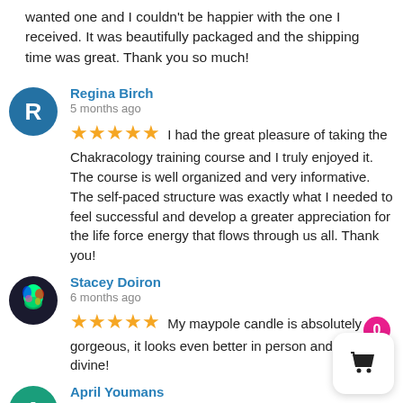wanted one and I couldn't be happier with the one I received. It was beautifully packaged and the shipping time was great. Thank you so much!
Regina Birch
5 months ago
★★★★★ I had the great pleasure of taking the Chakracology training course and I truly enjoyed it. The course is well organized and very informative. The self-paced structure was exactly what I needed to feel successful and develop a greater appreciation for the life force energy that flows through us all. Thank you!
Stacey Doiron
6 months ago
★★★★★ My maypole candle is absolutely gorgeous, it looks even better in person and smells divine!
April Youmans
6 months ago
★★★★★ Ordered Chakra Massage